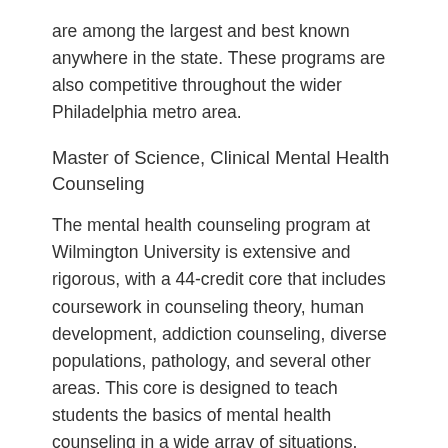are among the largest and best known anywhere in the state. These programs are also competitive throughout the wider Philadelphia metro area.
Master of Science, Clinical Mental Health Counseling
The mental health counseling program at Wilmington University is extensive and rigorous, with a 44-credit core that includes coursework in counseling theory, human development, addiction counseling, diverse populations, pathology, and several other areas. This core is designed to teach students the basics of mental health counseling in a wide array of situations, from substance abuse to family abuse and career planning. Beyond this standard core for all students, the program also features 12 credits of required field experiences in a supervised practicum setting. A minimum of two, 2-